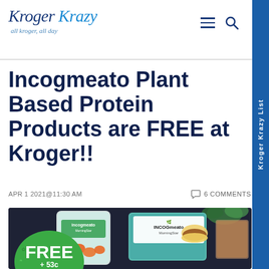Kroger Krazy — all kroger, all day
Incogmeato Plant Based Protein Products are FREE at Kroger!!
APR 1 2021@11:30 AM    6 COMMENTS
[Figure (photo): Photo of Incogmeato plant-based protein products (nuggets bag and MorningStar Farms burgers package) with a green FREE badge overlay showing FREE + 53c]